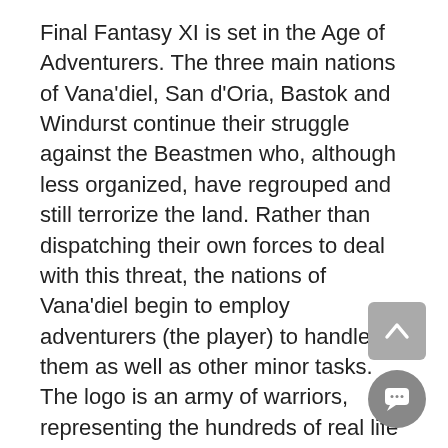Final Fantasy XI is set in the Age of Adventurers. The three main nations of Vana'diel, San d'Oria, Bastok and Windurst continue their struggle against the Beastmen who, although less organized, have regrouped and still terrorize the land. Rather than dispatching their own forces to deal with this threat, the nations of Vana'diel begin to employ adventurers (the player) to handle them as well as other minor tasks. The logo is an army of warriors, representing the hundreds of real life people you could play with in FFXI's massive online world.
[Figure (other): Scroll-to-top button with upward chevron arrow, grey rounded rectangle]
[Figure (other): Chat/message button, dark grey circle with speech bubble icon]